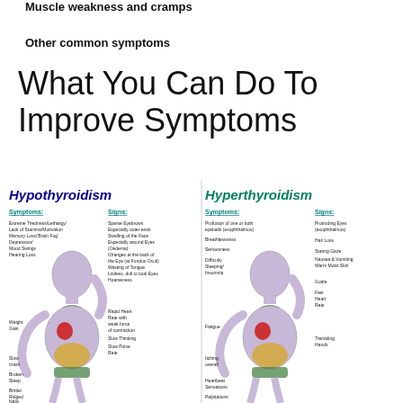Muscle weakness and cramps
Other common symptoms
What You Can Do To Improve Symptoms
[Figure (infographic): Side-by-side medical infographic comparing Hypothyroidism and Hyperthyroidism symptoms and signs, each illustrated with a seated human figure with labeled arrows pointing to body parts indicating symptoms and signs such as extreme tiredness, weight gain, sparse eyebrows, rapid heart rate for hypothyroidism; and protruding eyes, hair loss, fast heart rate, trembling hands for hyperthyroidism.]